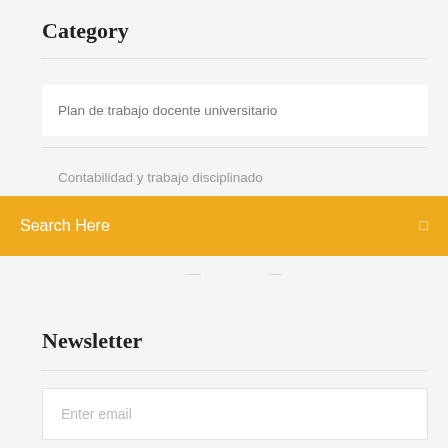Category
Plan de trabajo docente universitario
Contabilidad y trabajo disciplinado
[Figure (screenshot): Orange search bar overlay with text 'Search Here' and a search icon on the right]
Newsletter
Enter email